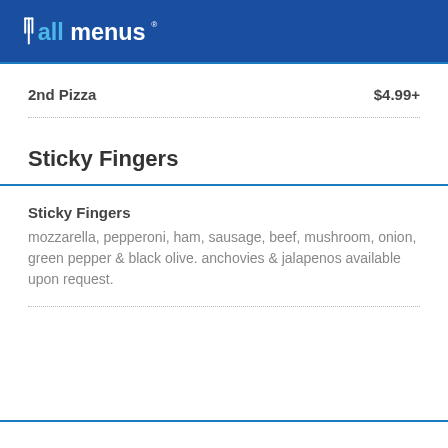allmenus
2nd Pizza   $4.99+
Sticky Fingers
Sticky Fingers
mozzarella, pepperoni, ham, sausage, beef, mushroom, onion, green pepper & black olive. anchovies & jalapenos available upon request.